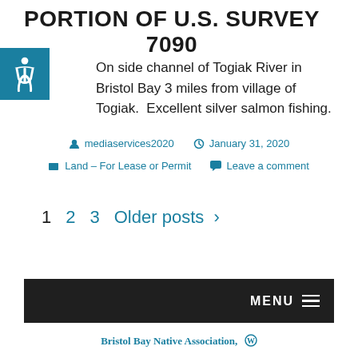PORTION OF U.S. SURVEY 7090
On side channel of Togiak River in Bristol Bay 3 miles from village of Togiak.  Excellent silver salmon fishing.
mediaservices2020  January 31, 2020  Land – For Lease or Permit  Leave a comment
1  2  3  Older posts >
MENU  Bristol Bay Native Association,